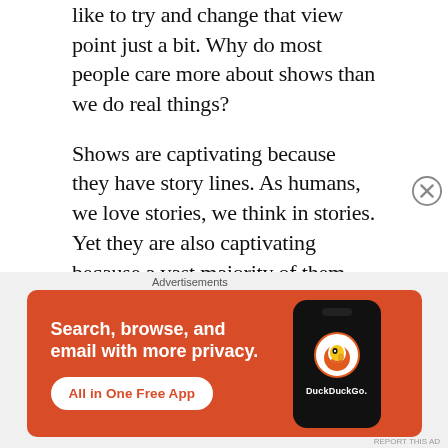like to try and change that view point just a bit. Why do most people care more about shows than we do real things?
Shows are captivating because they have story lines. As humans, we love stories, we think in stories. Yet they are also captivating because a vast majority of them have character development. You can trust someone is going to change, and most likely it will be for the better. It's comforting. Also, if they are done correctly, shows can be amazingly interesting. Science is absolutely fascinating, but not thrilling like watching dragons attack a castle. Books are entertaining, but people don't like spending the
Advertisements
[Figure (other): DuckDuckGo advertisement banner with orange background. Text reads: 'Search, browse, and email with more privacy. All in One Free App'. Shows a smartphone with DuckDuckGo logo.]